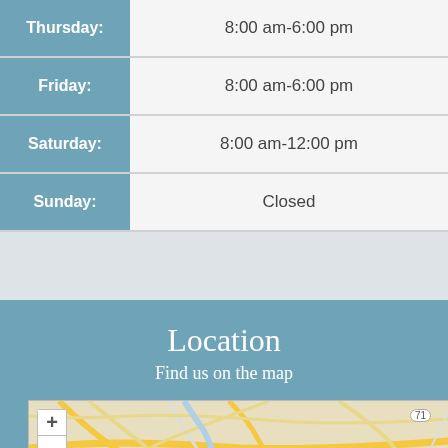| Day | Hours |
| --- | --- |
| Thursday: | 8:00 am-6:00 pm |
| Friday: | 8:00 am-6:00 pm |
| Saturday: | 8:00 am-12:00 pm |
| Sunday: | Closed |
Location
Find us on the map
[Figure (map): Street map showing location with zoom controls (+/-), an Accessibility View bar at the bottom, and road markers including route 71.]